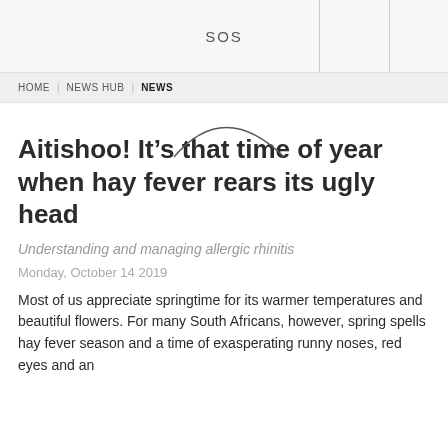SOS
HOME | NEWS HUB | NEWS
Aitishoo! It’s that time of year when hay fever rears its ugly head
Understanding and managing allergic rhinitis
Monday, October 14 2019
Most of us appreciate springtime for its warmer temperatures and beautiful flowers. For many South Africans, however, spring spells hay fever season and a time of exasperating runny noses, red eyes and an